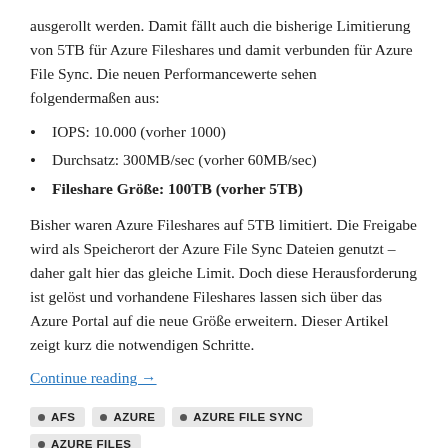ausgerollt werden. Damit fällt auch die bisherige Limitierung von 5TB für Azure Fileshares und damit verbunden für Azure File Sync. Die neuen Performancewerte sehen folgendermaßen aus:
IOPS: 10.000 (vorher 1000)
Durchsatz: 300MB/sec (vorher 60MB/sec)
Fileshare Größe: 100TB (vorher 5TB)
Bisher waren Azure Fileshares auf 5TB limitiert. Die Freigabe wird als Speicherort der Azure File Sync Dateien genutzt – daher galt hier das gleiche Limit. Doch diese Herausforderung ist gelöst und vorhandene Fileshares lassen sich über das Azure Portal auf die neue Größe erweitern. Dieser Artikel zeigt kurz die notwendigen Schritte.
Continue reading →
AFS  AZURE  AZURE FILE SYNC  AZURE FILES